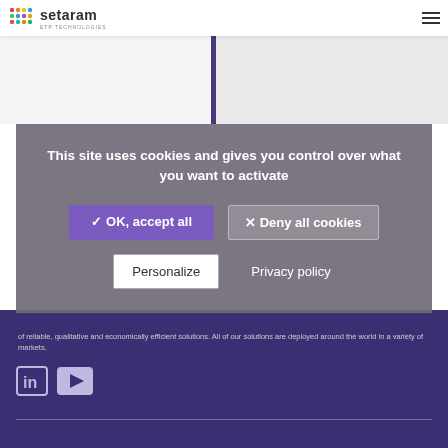[Figure (logo): Setaram ETP Technologies logo with colorful dot grid and wordmark]
[Figure (photo): Two-panel image strip with light gray backgrounds and purple vertical divider]
This site uses cookies and gives you control over what you want to activate
✓ OK, accept all
✕ Deny all cookies
Personalize
Privacy policy
of reliable, qualitative and economically efficient solutions. All of our solutions are deployed around the world in a variety of markets.
[Figure (logo): LinkedIn and YouTube social media icons in footer]